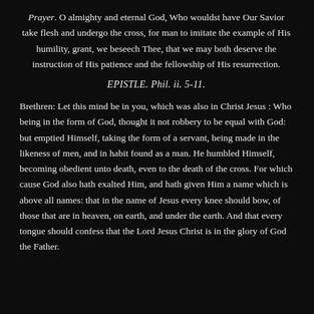Prayer. O almighty and eternal God, Who wouldst have Our Savior take flesh and undergo the cross, for man to imitate the example of His humility, grant, we beseech Thee, that we may both deserve the instruction of His patience and the fellowship of His resurrection.
EPISTLE. Phil. ii. 5-11.
Brethren: Let this mind be in you, which was also in Christ Jesus : Who being in the form of God, thought it not robbery to be equal with God: but emptied Himself, taking the form of a servant, being made in the likeness of men, and in habit found as a man. He humbled Himself, becoming obedient unto death, even to the death of the cross. For which cause God also hath exalted Him, and hath given Him a name which is above all names: that in the name of Jesus every knee should bow, of those that are in heaven, on earth, and under the earth. And that every tongue should confess that the Lord Jesus Christ is in the glory of God the Father.